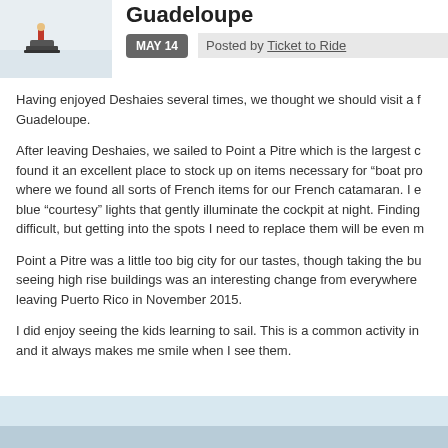[Figure (photo): Thumbnail photo of a person on a snowmobile or similar winter vehicle on ice/snow]
Guadeloupe
MAY 14   Posted by Ticket to Ride
Having enjoyed Deshaies several times, we thought we should visit a f... Guadeloupe.
After leaving Deshaies, we sailed to Point a Pitre which is the largest c... found it an excellent place to stock up on items necessary for "boat pro... where we found all sorts of French items for our French catamaran. I e... blue "courtesy" lights that gently illuminate the cockpit at night. Finding... difficult, but getting into the spots I need to replace them will be even m...
Point a Pitre was a little too big city for our tastes, though taking the bu... seeing high rise buildings was an interesting change from everywhere... leaving Puerto Rico in November 2015.
I did enjoy seeing the kids learning to sail. This is a common activity in... and it always makes me smile when I see them.
[Figure (photo): Bottom portion of an outdoor photo, likely sky and water scene]